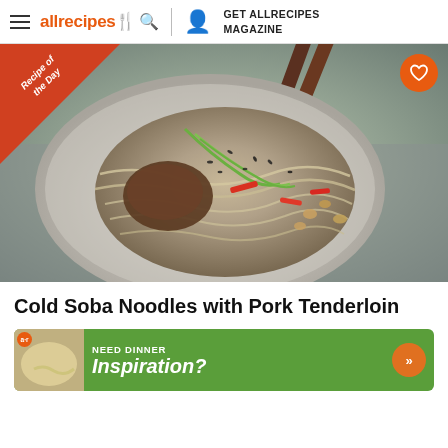allrecipes | GET ALLRECIPES MAGAZINE
[Figure (photo): A plate of Cold Soba Noodles with Pork Tenderloin, garnished with green onions, sesame seeds, peanuts, and red peppers, with chopsticks resting on the plate. A 'Recipe of the Day' ribbon is in the top-left corner, and a heart/save button in top-right.]
Cold Soba Noodles with Pork Tenderloin
[Figure (infographic): Advertisement banner: green background with 'NEED DINNER Inspiration?' text and double arrow button. Small food thumbnail on left with allrecipes badge.]